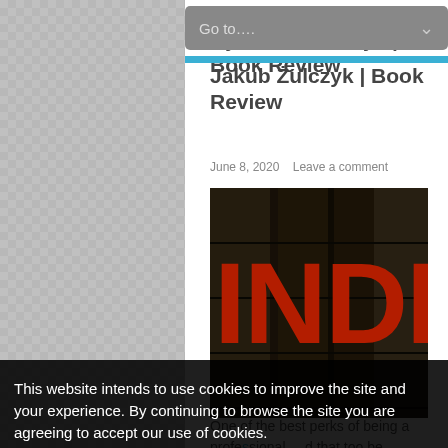Go to....
Blinded by the Lights By Jakub Żulczyk | Book Review
June 8, 2020   Leave a comment
[Figure (photo): Book cover showing red letters 'INDI' on a dark background with bookshelves visible]
This website intends to use cookies to improve the site and your experience. By continuing to browse the site you are agreeing to accept our use of cookies.
❯  Privacy Preferences
One of the best perks of being a professional... d that too be...
I Agree